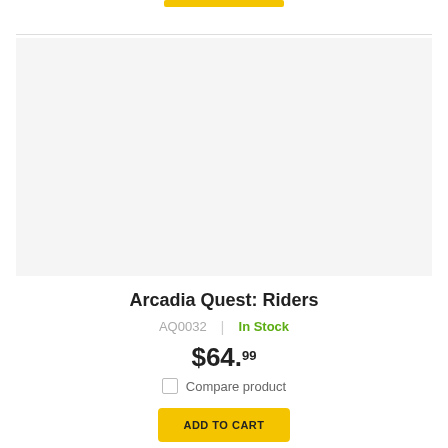[Figure (other): Product image area for Arcadia Quest: Riders (blank/light grey background)]
Arcadia Quest: Riders
AQ0032  |  In Stock
$64.99
Compare product
ADD TO CART